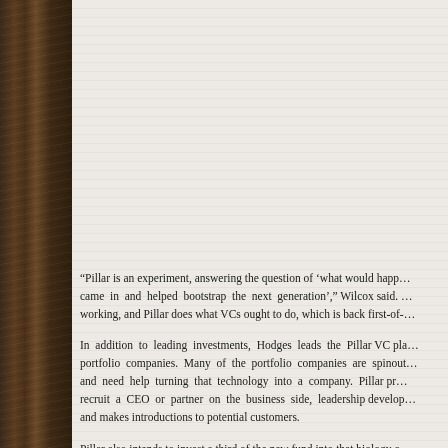[Figure (photo): Decorative wood texture panel on left side of page, with light gray/beige textured background on right side]
“Pillar is an experiment, answering the question of ‘what would happen if a successful serial entrepreneur came in and helped bootstrap the next generation’,” Wilcox said. … working, and Pillar does what VCs ought to do, which is back first-of-…
In addition to leading investments, Hodges leads the Pillar VC pla… portfolio companies. Many of the portfolio companies are spinout… and need help turning that technology into a company. Pillar pr… recruit a CEO or partner on the business side, leadership develop… and makes introductions to potential customers.
Pillar also intends to invest a third of the new fund into that biology c… looking at the convergence of life science and technology, Wilcox sa…